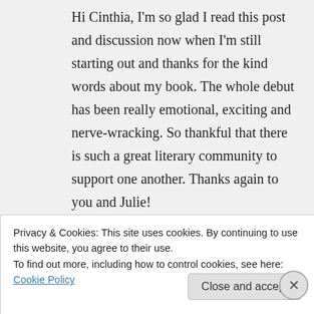Hi Cinthia, I'm so glad I read this post and discussion now when I'm still starting out and thanks for the kind words about my book. The whole debut has been really emotional, exciting and nerve-wracking. So thankful that there is such a great literary community to support one another. Thanks again to you and Julie!
★ Liked by 2 people
↳ Reply
Privacy & Cookies: This site uses cookies. By continuing to use this website, you agree to their use.
To find out more, including how to control cookies, see here: Cookie Policy
Close and accept